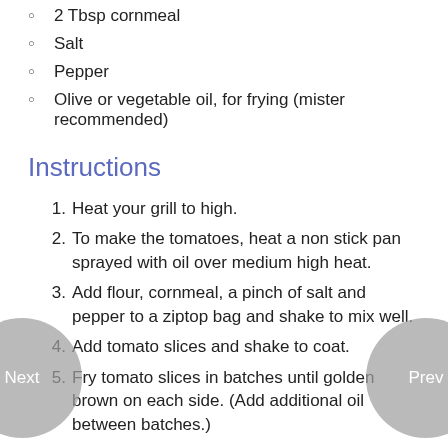2 Tbsp cornmeal
Salt
Pepper
Olive or vegetable oil, for frying (mister recommended)
Instructions
Heat your grill to high.
To make the tomatoes, heat a non stick pan sprayed with oil over medium high heat.
Add flour, cornmeal, a pinch of salt and pepper to a ziptop bag and shake to mix well.
Add tomato slices and shake to coat.
Fry tomato slices in batches until golden brown on each side. (Add additional oil between batches.)